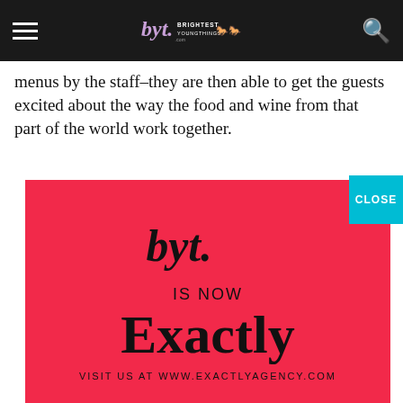BYT Brightest Young Things
menus by the staff–they are then able to get the guests excited about the way the food and wine from that part of the world work together.
[Figure (advertisement): BYT is now Exactly agency advertisement on red/pink background. Logo text 'byt.' in script, then 'IS NOW', then 'Exactly' in large serif bold, then 'VISIT US AT WWW.EXACTLYAGENCY.COM']
menu.
My favorite pairing opportunity on the menu at Marini is our